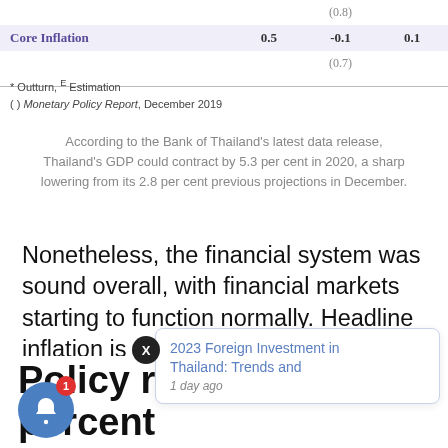|  | (0.8) |
| Core Inflation | 0.5 | -0.1 | 0.1 |
|  | (0.7) |
* Outturn, E Estimation
( ) Monetary Policy Report, December 2019
According to the Bank of Thailand's latest data release, Thailand's GDP could contract by 5.3 per cent in 2020, a sharp lowering from its 2.8 per cent previous projections in December.
Nonetheless, the financial system was sound overall, with financial markets starting to function normally. Headline inflation is also forecast to contract in negative value with -1 per cent instead of 0.8% previous proje
2023 Foreign Investment in Thailand: Trends and
1 day ago
Policy rate at 0.75 percent